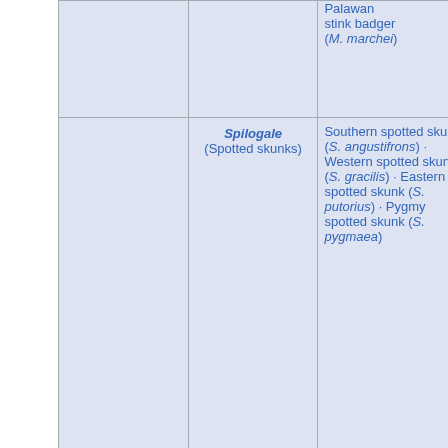| Family | Genus | Species |
| --- | --- | --- |
|  |  | Palawan stink badger (M. marchei) |
|  | Spilogale (Spotted skunks) | Southern spotted skunk (S. angustifrons) · Western spotted skunk (S. gracilis) · Eastern spotted skunk (S. putorius) · Pygmy spotted skunk (S. pygmaea) |
| Procyonidae (Raccoons, coatis, olingos) | Bassaricyon (Olingos) | Eastern lowland olingo (B. ... |